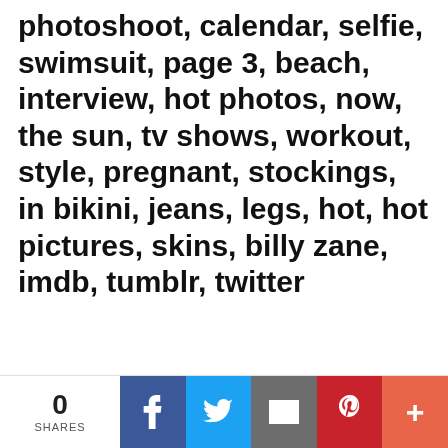photoshoot, calendar, selfie, swimsuit, page 3, beach, interview, hot photos, now, the sun, tv shows, workout, style, pregnant, stockings, in bikini, jeans, legs, hot, hot pictures, skins, billy zane, imdb, tumblr, twitter
0 SHARES | Facebook | Twitter | Email | Pinterest | More